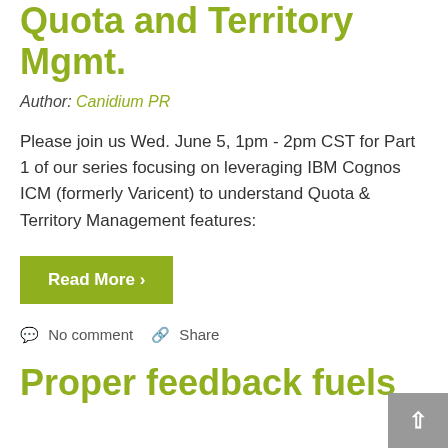Quota and Territory Mgmt.
Author: Canidium PR
Please join us Wed. June 5, 1pm - 2pm CST for Part 1 of our series focusing on leveraging IBM Cognos ICM (formerly Varicent) to understand Quota & Territory Management features:
Read More >
No comment   Share
Proper feedback fuels